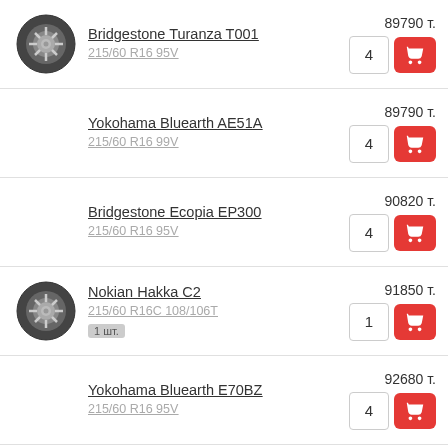Bridgestone Turanza T001 | 215/60 R16 95V | 89790 т. | qty: 4
Yokohama Bluearth AE51A | 215/60 R16 99V | 89790 т. | qty: 4
Bridgestone Ecopia EP300 | 215/60 R16 95V | 90820 т. | qty: 4
Nokian Hakka C2 | 215/60 R16C 108/106T | 1 шт. | 91850 т. | qty: 1
Yokohama Bluearth E70BZ | 215/60 R16 95V | 92680 т. | qty: 4
Continental ContiEcoContact 6 | 100130 т.